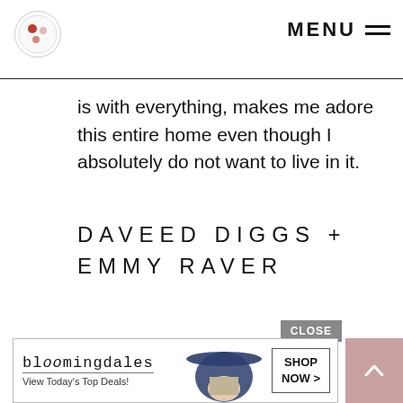MENU
is with everything, makes me adore this entire home even though I absolutely do not want to live in it.
DAVEED DIGGS + EMMY RAVER
[Figure (other): Bloomingdale's advertisement banner with logo, tagline 'View Today's Top Deals!', woman in hat image, and SHOP NOW button. CLOSE button above.]